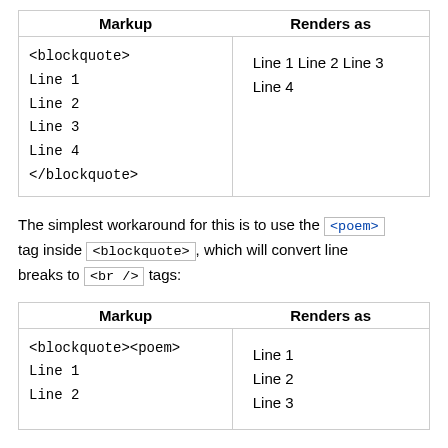| Markup | Renders as |
| --- | --- |
| <blockquote>
Line 1
Line 2
Line 3
Line 4
</blockquote> | Line 1 Line 2 Line 3 Line 4 |
The simplest workaround for this is to use the <poem> tag inside <blockquote>, which will convert line breaks to <br /> tags:
| Markup | Renders as |
| --- | --- |
| <blockquote><poem>
Line 1
Line 2 | Line 1
Line 2
Line 3 |